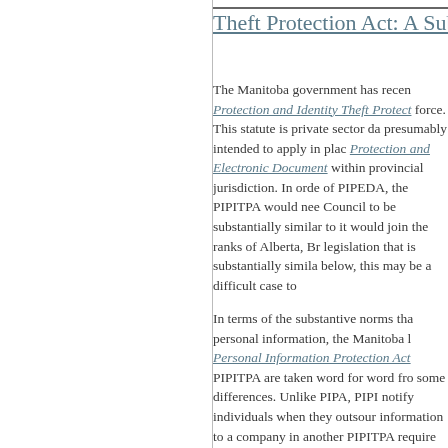Theft Protection Act: A Sub
The Manitoba government has recently enacted the Personal Information Protection and Identity Theft Protection Act (PIPITPA), which is now in force. This statute is private sector data protection legislation, presumably intended to apply in place of the Personal Information Protection and Electronic Documents Act (PIPEDA) for organizations within provincial jurisdiction. In order to displace the application of PIPEDA, the PIPITPA would need to be found by the Governor in Council to be substantially similar to PIPEDA. If it received such a finding, it would join the ranks of Alberta, British Columbia and Quebec in having legislation that is substantially similar to PIPEDA. As discussed below, this may be a difficult case to make.
In terms of the substantive norms that govern the collection of personal information, the Manitoba legislation borrows heavily from Alberta's Personal Information Protection Act (PIPA). Many of the substantive provisions of PIPITPA are taken word for word from PIPA, though there are also some differences. Unlike PIPA, PIPITPA requires organizations to notify individuals when they outsource the processing of their personal information to a company in another jurisdiction. However, neither PIPA nor PIPITPA require notification of individuals when they engage a service provider to collect personal information or when they transfer information to an offshore company.